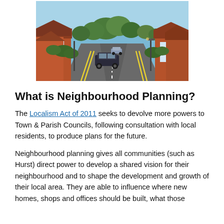[Figure (photo): A photo of a residential street with red-brick houses on both sides, cars parked along the road, trees in the background, taken on a sunny day.]
What is Neighbourhood Planning?
The Localism Act of 2011 seeks to devolve more powers to Town & Parish Councils, following consultation with local residents, to produce plans for the future.
Neighbourhood planning gives all communities (such as Hurst) direct power to develop a shared vision for their neighbourhood and to shape the development and growth of their local area. They are able to influence where new homes, shops and offices should be built, what those